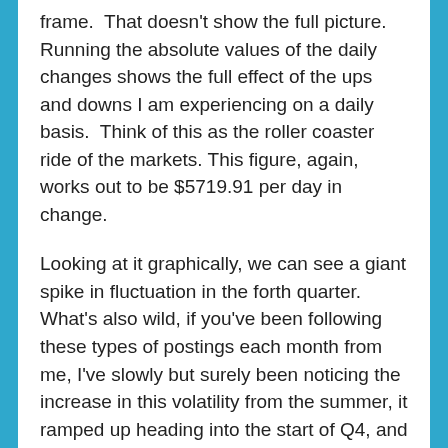frame. That doesn't show the full picture. Running the absolute values of the daily changes shows the full effect of the ups and downs I am experiencing on a daily basis. Think of this as the roller coaster ride of the markets. This figure, again, works out to be $5719.91 per day in change.
Looking at it graphically, we can see a giant spike in fluctuation in the forth quarter. What's also wild, if you've been following these types of postings each month from me, I've slowly but surely been noticing the increase in this volatility from the summer, it ramped up heading into the start of Q4, and of course we saw the volatility in the markets happen beginning in October and only continue to rise. Just something interesting I thought from tracking the data.
With the start to 2019, we continue to see volatility be